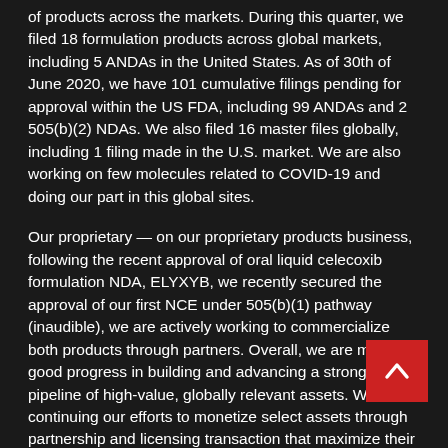of products across the markets. During this quarter, we filed 18 formulation products across global markets, including 5 ANDAs in the United States. As of 30th of June 2020, we have 101 cumulative filings pending for approval within the US FDA, including 99 ANDAs and 2 505(b)(2) NDAs. We also filed 16 master files globally, including 1 filing made in the U.S. market. We are also working on few molecules related to COVID-19 and doing our part in this global sites.
Our proprietary — on our proprietary products business, following the recent approval of oral liquid celecoxib formulation NDA, ELYXYB, we recently secured the approval of our first NCE under 505(b)(1) pathway (inaudible), we are actively working to commercialize both products through partners. Overall, we are making good progress in building and advancing a strong pipeline of high-value, globally relevant assets. We are continuing our efforts to monetize select assets through partnership and licensing transaction that maximize their value. On biologics front, the Phase III trial for rituximab is progressing well. In parallel, we are working